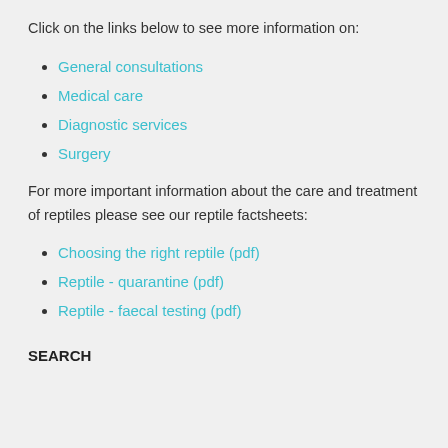Click on the links below to see more information on:
General consultations
Medical care
Diagnostic services
Surgery
For more important information about the care and treatment of reptiles please see our reptile factsheets:
Choosing the right reptile (pdf)
Reptile - quarantine (pdf)
Reptile - faecal testing (pdf)
SEARCH